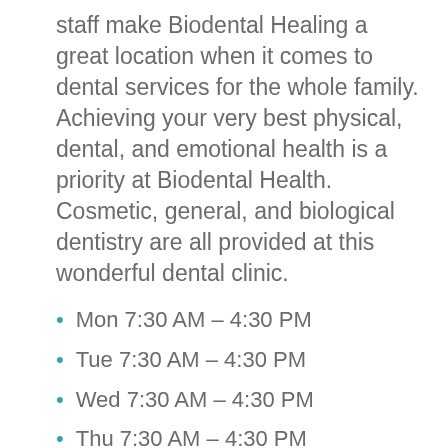staff make Biodental Healing a great location when it comes to dental services for the whole family. Achieving your very best physical, dental, and emotional health is a priority at Biodental Health. Cosmetic, general, and biological dentistry are all provided at this wonderful dental clinic.
Mon 7:30 AM – 4:30 PM
Tue 7:30 AM – 4:30 PM
Wed 7:30 AM – 4:30 PM
Thu 7:30 AM – 4:30 PM
Fri Closed
Driving Directions